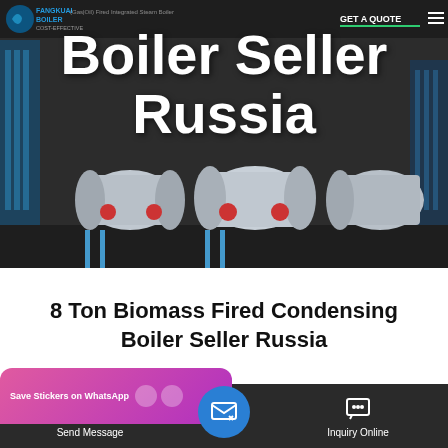[Figure (screenshot): Hero banner showing industrial steam boilers in a dark background with company logo, navigation, GET A QUOTE button, and overlay text about Gas/Oil Fired Integrated Steam Boiler]
Boiler Seller Russia
8 Ton Biomass Fired Condensing Boiler Seller Russia
[Figure (screenshot): WhatsApp sticker save overlay banner in pink/purple gradient]
Send Message
Inquiry Online